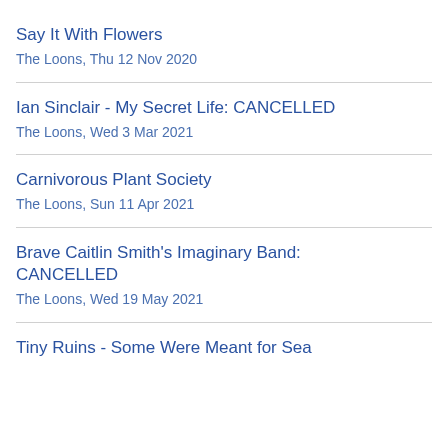Say It With Flowers
The Loons, Thu 12 Nov 2020
Ian Sinclair - My Secret Life: CANCELLED
The Loons, Wed 3 Mar 2021
Carnivorous Plant Society
The Loons, Sun 11 Apr 2021
Brave Caitlin Smith's Imaginary Band: CANCELLED
The Loons, Wed 19 May 2021
Tiny Ruins - Some Were Meant for Sea